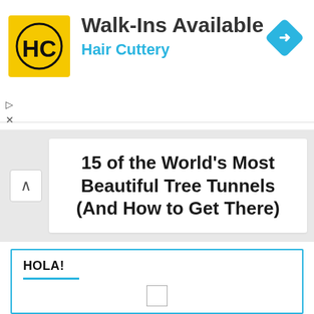[Figure (screenshot): Hair Cuttery advertisement banner with yellow HC logo, 'Walk-Ins Available' heading, 'Hair Cuttery' in blue, and a blue navigation diamond icon on the right]
15 of the World's Most Beautiful Tree Tunnels (And How to Get There)
HOLA!
Hello there! My name is Jay and I run this website. I'm a full-time traveler and freelance writer. This is where I share travel advice and help people pursue their traveling dreams.
You can learn more about me and my mission on the